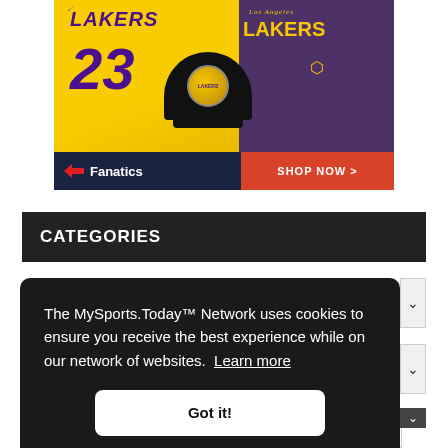[Figure (photo): Fanatics advertisement banner showing LA Lakers #23 yellow jersey, black Lakers cap, and purple Los Angeles Lakers women's shirt. Bottom bar shows Fanatics logo on dark navy background and 'SHOP NOW >' on red background.]
CATEGORIES
The MySports.Today™ Network uses cookies to ensure you receive the best experience while on our network of websites. Learn more
Got it!
Select Month